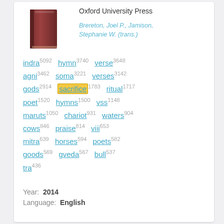[Figure (photo): Book cover image - reddish-brown book]
Oxford University Press
Brereton, Joel P., Jamison, Stephanie W. (trans.)
indra 5092  hymn 3740  verse 3648  agni 3462  soma 3221  verses 3142  gods 2914  sacrifice 1783  ritual 1717  poet 1520  hymns 1500  vss 1148  maruts 1050  chariot 931  waters 904  cows 846  praise 814  viii 653  mitra 639  horses 594  poets 582  goods 569  gveda 567  bull 537  tra 436
Year:  2014
Language:  English